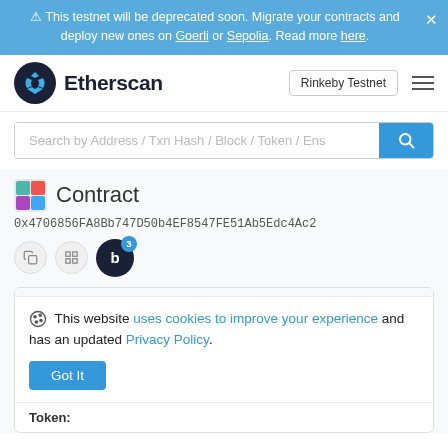⚠ This testnet will be deprecated soon. Migrate your contracts and deploy new ones on Goerli or Sepolia. Read more here.
[Figure (logo): Etherscan logo with dark blue circular icon and 'Etherscan' wordmark]
Rinkeby Testnet
Search by Address / Txn Hash / Block / Token / Ens
Contract
0x4706856FA8Bb747D50b4EF8547FE51Ab5Edc4Ac2
This website uses cookies to improve your experience and has an updated Privacy Policy.
Got It
Token: